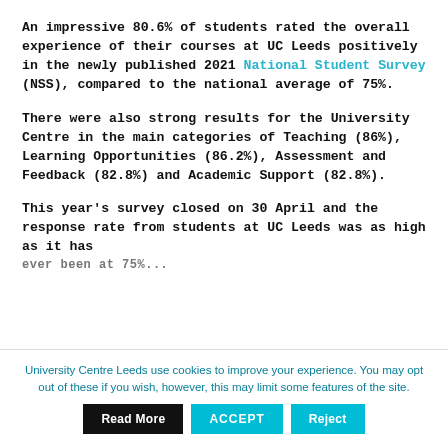An impressive 80.6% of students rated the overall experience of their courses at UC Leeds positively in the newly published 2021 National Student Survey (NSS), compared to the national average of 75%.
There were also strong results for the University Centre in the main categories of Teaching (86%), Learning Opportunities (86.2%), Assessment and Feedback (82.8%) and Academic Support (82.8%).
This year's survey closed on 30 April and the response rate from students at UC Leeds was as high as it has [ever been at 75%].
University Centre Leeds use cookies to improve your experience. You may opt out of these if you wish, however, this may limit some features of the site.